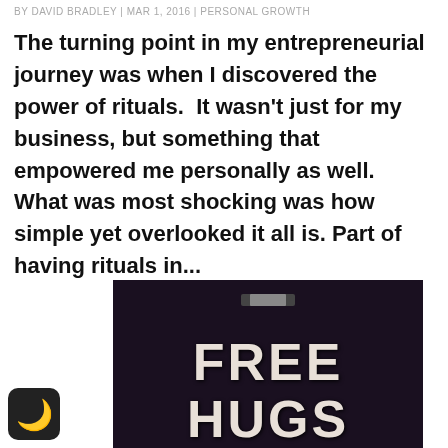BY DAVID BRADLEY | MAR 1, 2016 | PERSONAL GROWTH
The turning point in my entrepreneurial journey was when I discovered the power of rituals.  It wasn't just for my business, but something that empowered me personally as well.  What was most shocking was how simple yet overlooked it all is. Part of having rituals in...
[Figure (photo): A dark navy/black t-shirt with a small logo at the collar and bold stencil-style text reading 'FREE HUGS' in large cream/white letters]